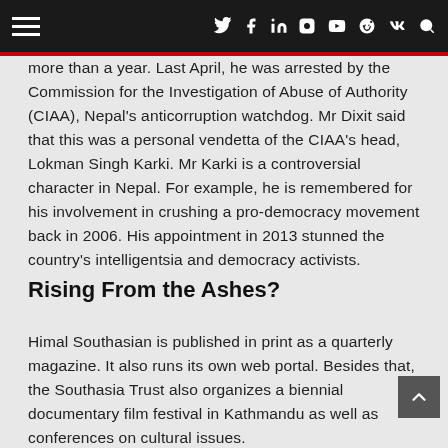Navigation bar with hamburger menu and social icons: Twitter, Facebook, LinkedIn, Instagram, YouTube, Reddit, VK, Search
more than a year. Last April, he was arrested by the Commission for the Investigation of Abuse of Authority (CIAA), Nepal's anticorruption watchdog. Mr Dixit said that this was a personal vendetta of the CIAA's head, Lokman Singh Karki. Mr Karki is a controversial character in Nepal. For example, he is remembered for his involvement in crushing a pro-democracy movement back in 2006. His appointment in 2013 stunned the country's intelligentsia and democracy activists.
Rising From the Ashes?
Himal Southasian is published in print as a quarterly magazine. It also runs its own web portal. Besides that, the Southasia Trust also organizes a biennial documentary film festival in Kathmandu as well as conferences on cultural issues.
Himal Southasian is the only organization expressing the...